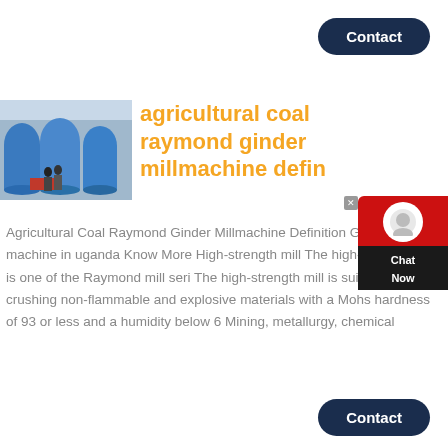[Figure (other): Contact button at top right, dark navy rounded rectangle with white text 'Contact']
[Figure (photo): Industrial photo showing large blue grinding mill machines in a factory with two people standing near them]
agricultural coal raymond ginder millmachine defin
Agricultural Coal Raymond Ginder Millmachine Definition Grinding mill machine in uganda Know More High-strength mill The high-strength mill is one of the Raymond mill seri The high-strength mill is suitable for crushing non-flammable and explosive materials with a Mohs hardness of 93 or less and a humidity below 6 Mining, metallurgy, chemical
[Figure (other): Contact button at bottom right, dark navy rounded rectangle with white text 'Contact']